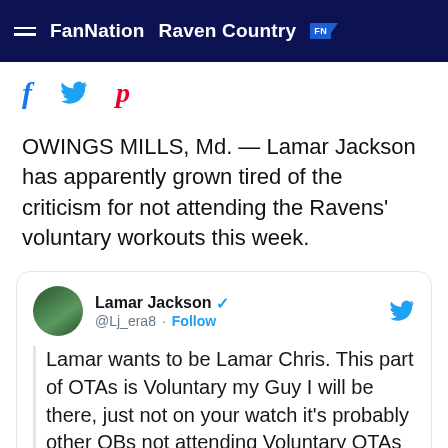FanNation  Raven Country
[Figure (other): Social media share icons: Facebook (f), Twitter bird, Pinterest (p)]
OWINGS MILLS, Md. — Lamar Jackson has apparently grown tired of the criticism for not attending the Ravens' voluntary workouts this week.
Lamar Jackson @Lj_era8 · Follow — Lamar wants to be Lamar Chris. This part of OTAs is Voluntary my Guy I will be there, just not on your watch it's probably other QBs not attending Voluntary OTAs either but